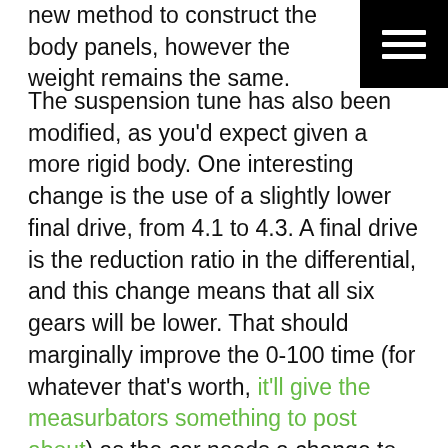new method to construct the body panels, however the weight remains the same.
The suspension tune has also been modified, as you'd expect given a more rigid body. One interesting change is the use of a slightly lower final drive, from 4.1 to 4.3. A final drive is the reduction ratio in the differential, and this change means that all six gears will be lower. That should marginally improve the 0-100 time (for whatever that's worth, it'll give the measurbators something to post about) as the car needs a change to third just before 100km/h anyway. The downside of this change is that freeway cruising will be slightly noisier as the revs will be higher…but you don't buy an 86 to cruise in top gear so that's not really a concern.